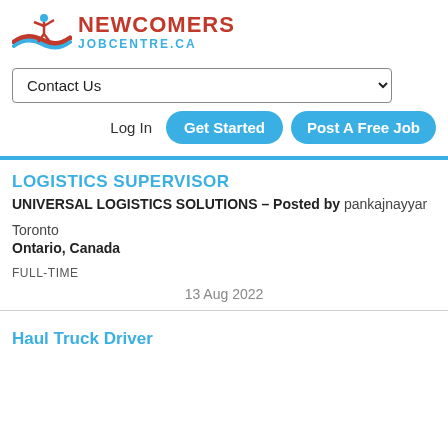[Figure (logo): Newcomers Job Centre logo with stylized figure and wave graphic in red and blue]
Contact Us
Log In   Get Started   Post A Free Job
LOGISTICS SUPERVISOR
UNIVERSAL LOGISTICS SOLUTIONS – Posted by pankajnayyar
Toronto
Ontario, Canada
FULL-TIME
13 Aug 2022
Haul Truck Driver